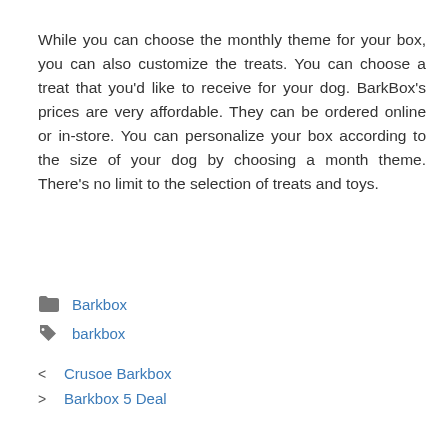While you can choose the monthly theme for your box, you can also customize the treats. You can choose a treat that you'd like to receive for your dog. BarkBox's prices are very affordable. They can be ordered online or in-store. You can personalize your box according to the size of your dog by choosing a month theme. There's no limit to the selection of treats and toys.
Barkbox (category link)
barkbox (tag link)
< Crusoe Barkbox
> Barkbox 5 Deal